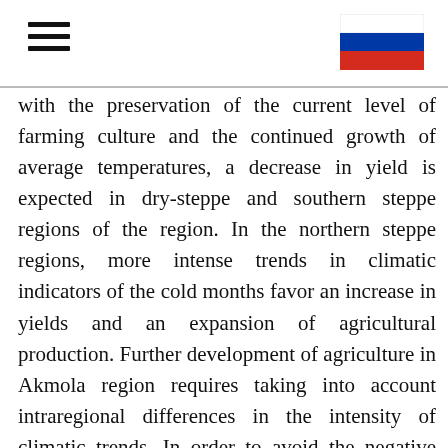with the preservation of the current level of farming culture and the continued growth of average temperatures, a decrease in yield is expected in dry-steppe and southern steppe regions of the region. In the northern steppe regions, more intense trends in climatic indicators of the cold months favor an increase in yields and an expansion of agricultural production. Further development of agriculture in Akmola region requires taking into account intraregional differences in the intensity of climatic trends. In order to avoid the negative consequences of climate change, it is proposed to introduce adaptation technologies, to diversify agricultural production, to develop organic agriculture and actively to support agricultural